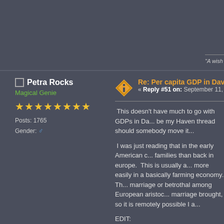"A wish changes nothing. A decision changes everythi...
Petra Rocks
Magical Genie
★★★★★★★★
Posts: 1765
Gender: ♂
Re: Per capita GDP in Daventry, aka P
« Reply #51 on: September 11, 2006, 11:45:53
This doesn't have much to go with GDPs in Da... be my Haven thread should somebody move it...
I was just reading that in the early American c... families than back in europe. This is usually a... more easily in a basically farming economy. Th... marriage or betrothal among European aristoc... marriage brought, so it is remotely possible I a...
EDIT:
And what the deuce are you two going on ab... choice of topics. (Assuming this is now 'my thr...
« Last Edit: September 11, 2006, 11:52:05 AM by Petra...
Yonkey
Re: Per capita GDP in Daventry, a...